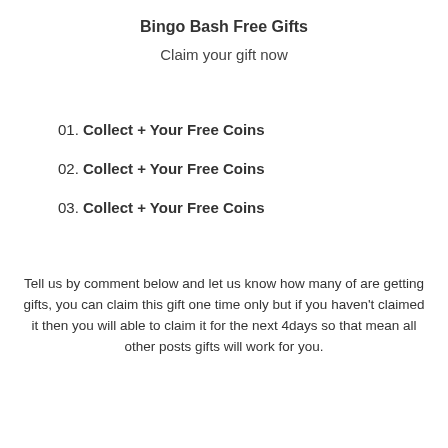Bingo Bash Free Gifts
Claim your gift now
01. Collect + Your Free Coins
02. Collect + Your Free Coins
03. Collect + Your Free Coins
Tell us by comment below and let us know how many of are getting gifts, you can claim this gift one time only but if you haven't claimed it then you will able to claim it for the next 4days so that mean all other posts gifts will work for you.